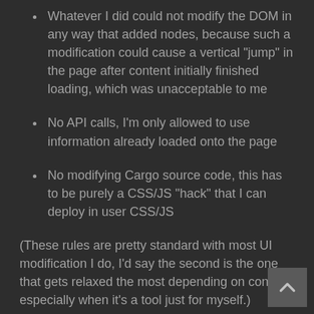Whatever I did could not modify the DOM in any way that added nodes, because such a modification could cause a vertical "jump" in the page after content initially finished loading, which was unacceptable to me
No API calls, I'm only allowed to use information already loaded onto the page
No modifying Cargo source code, this has to be purely a CSS/JS "hack" that I can deploy in user CSS/JS
(These rules are pretty standard with most UI modification I do, I'd say the second is the one that gets relaxed the most depending on context, especially when it's a tool just for myself.)